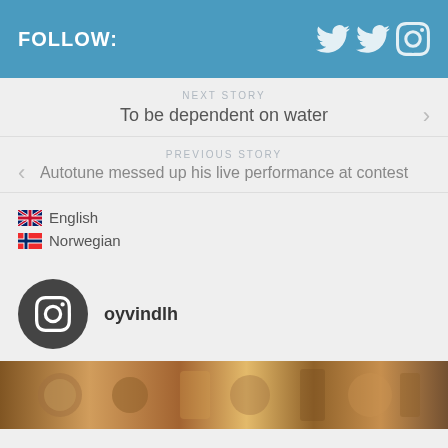FOLLOW:
NEXT STORY
To be dependent on water
PREVIOUS STORY
Autotune messed up his live performance at contest
English
Norwegian
oyvindlh
[Figure (photo): Photo strip showing various objects including watches and decorative items]